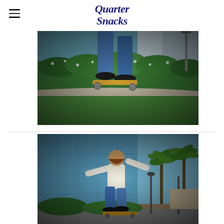Quarter Snacks
[Figure (photo): Skateboarder performing a trick on a curved concrete ledge with green plants and flowers in the background, outdoors in an urban setting. Only legs and skateboard visible, wearing jeans and dark shoes. Fish-eye lens style with dark vignette edges.]
[Figure (photo): Skateboarder performing a trick in front of a modern blue glass building with palm trees. The skater is wearing a white t-shirt and jeans, arms outstretched for balance. Fish-eye lens style with dark vignette edges.]